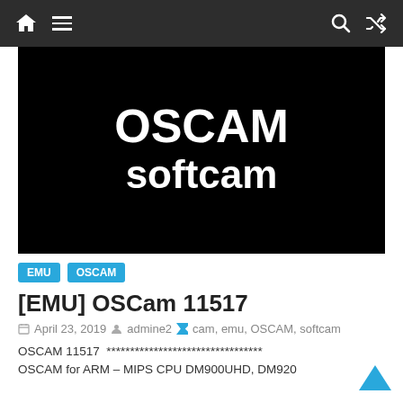Navigation bar with home, menu, search, and shuffle icons
[Figure (illustration): Black background image with white bold text reading 'OSCAM' on top line and 'softcam' on second line]
EMU  OSCAM
[EMU] OSCam 11517
April 23, 2019  admine2  cam, emu, OSCAM, softcam
OSCAM 11517  ********************************* OSCAM for ARM – MIPS CPU DM900UHD, DM920